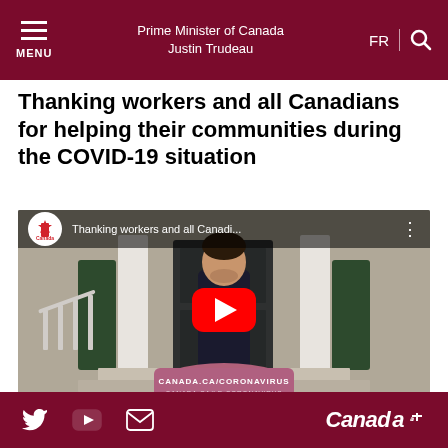Prime Minister of Canada Justin Trudeau | MENU | FR | Search
Thanking workers and all Canadians for helping their communities during the COVID-19 situation
[Figure (screenshot): YouTube video thumbnail showing Prime Minister Justin Trudeau standing at a podium outdoors. The video title reads 'Thanking workers and all Canadi...' A red YouTube play button is overlaid in the center. At the bottom a mauve podium reads 'CANADA.CA/CORONAVIRUS' and below that 'CANADA.CA/LE-CORONAVIRUS'. A Canada wordmark logo circular badge appears in the top left of the video.]
Twitter | YouTube | Email | Canada wordmark